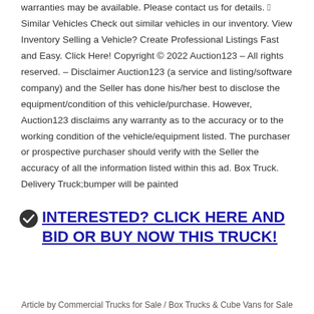warranties may be available. Please contact us for details. &#xe073; Similar Vehicles Check out similar vehicles in our inventory. View Inventory Selling a Vehicle? Create Professional Listings Fast and Easy. Click Here! Copyright © 2022 Auction123 – All rights reserved. – Disclaimer Auction123 (a service and listing/software company) and the Seller has done his/her best to disclose the equipment/condition of this vehicle/purchase. However, Auction123 disclaims any warranty as to the accuracy or to the working condition of the vehicle/equipment listed. The purchaser or prospective purchaser should verify with the Seller the accuracy of all the information listed within this ad. Box Truck. Delivery Truck;bumper will be painted
INTERESTED? CLICK HERE AND BID OR BUY NOW THIS TRUCK!
Article by Commercial Trucks for Sale / Box Trucks & Cube Vans for Sale